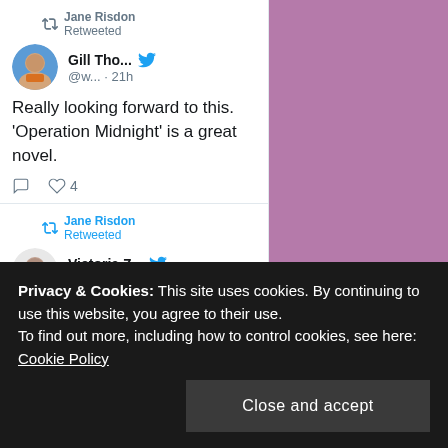Jane Risdon Retweeted
Gill Tho... @w... · 21h
Really looking forward to this. 'Operation Midnight' is a great novel.
Jane Risdon Retweeted
Victoria Z... @.. · Aug 19
Privacy & Cookies: This site uses cookies. By continuing to use this website, you agree to their use.
To find out more, including how to control cookies, see here:
Cookie Policy